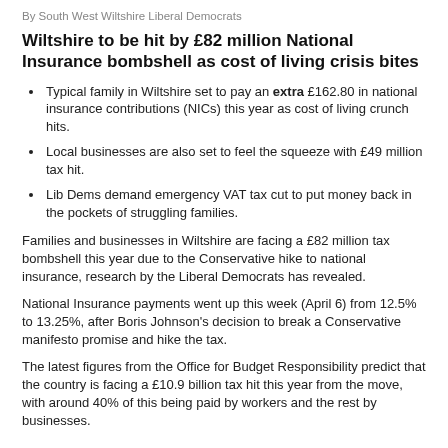By South West Wiltshire Liberal Democrats
Wiltshire to be hit by £82 million National Insurance bombshell as cost of living crisis bites
Typical family in Wiltshire set to pay an extra £162.80 in national insurance contributions (NICs) this year as cost of living crunch hits.
Local businesses are also set to feel the squeeze with £49 million tax hit.
Lib Dems demand emergency VAT tax cut to put money back in the pockets of struggling families.
Families and businesses in Wiltshire are facing a £82 million tax bombshell this year due to the Conservative hike to national insurance, research by the Liberal Democrats has revealed.
National Insurance payments went up this week (April 6) from 12.5% to 13.25%, after Boris Johnson's decision to break a Conservative manifesto promise and hike the tax.
The latest figures from the Office for Budget Responsibility predict that the country is facing a £10.9 billion tax hit this year from the move, with around 40% of this being paid by workers and the rest by businesses.